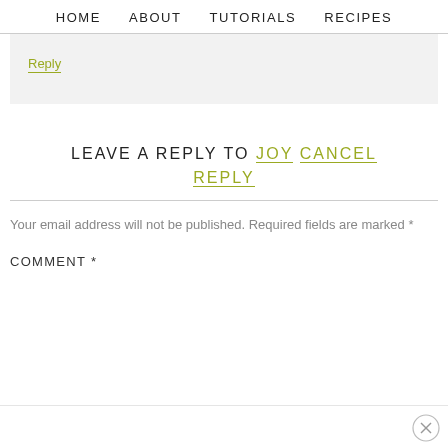HOME   ABOUT   TUTORIALS   RECIPES
Reply
LEAVE A REPLY TO JOY CANCEL REPLY
Your email address will not be published. Required fields are marked *
COMMENT *